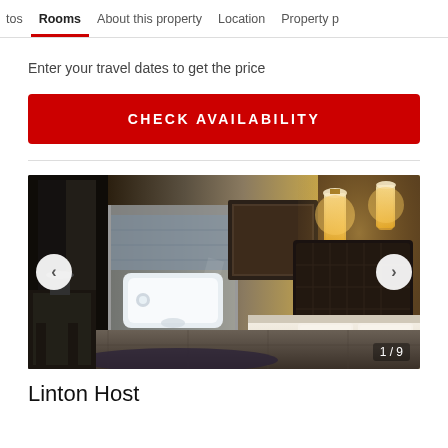tos  Rooms  About this property  Location  Property p
Enter your travel dates to get the price
CHECK AVAILABILITY
[Figure (photo): Hotel room photo showing a large bed with white linens, an open-plan bathroom with a white jacuzzi tub, glass shower enclosure, dark wood headboard, and warm wall sconces. Image counter shows 1/9.]
Linton Host